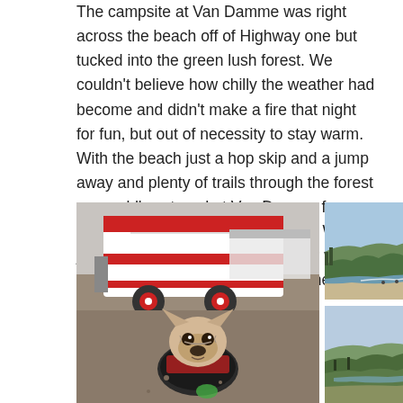The campsite at Van Damme was right across the beach off of Highway one but tucked into the green lush forest. We couldn't believe how chilly the weather had become and didn't make a fire that night for fun, but out of necessity to stay warm. With the beach just a hop skip and a jump away and plenty of trails through the forest we could've stayed at Van Damme for much longer than we had planned. With just a quick stop over we made our way to the road again, heading north on the coast.
[Figure (photo): A French bulldog sitting in front of a red and white vintage trailer/camper at a campsite]
[Figure (photo): A coastal landscape showing a beach cove with cliffs and trees, calm blue water]
[Figure (photo): Another coastal landscape view showing coastline, hills with trees, and water]